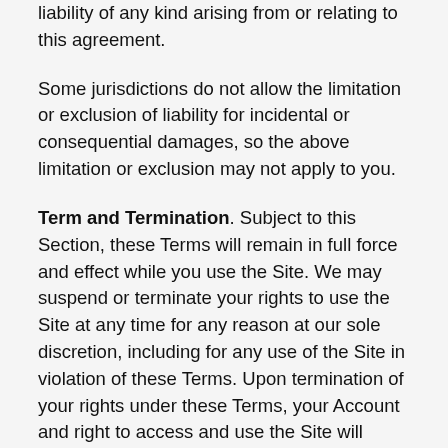liability of any kind arising from or relating to this agreement.
Some jurisdictions do not allow the limitation or exclusion of liability for incidental or consequential damages, so the above limitation or exclusion may not apply to you.
Term and Termination. Subject to this Section, these Terms will remain in full force and effect while you use the Site. We may suspend or terminate your rights to use the Site at any time for any reason at our sole discretion, including for any use of the Site in violation of these Terms. Upon termination of your rights under these Terms, your Account and right to access and use the Site will terminate immediately. You understand that any termination of your Account may involve deletion of your User Content associated with your Account from our live databases. Company will not have any liability whatsoever to you for any termination of your rights under these Terms. Even after your rights under these Terms are terminated, the following provisions of these Terms will